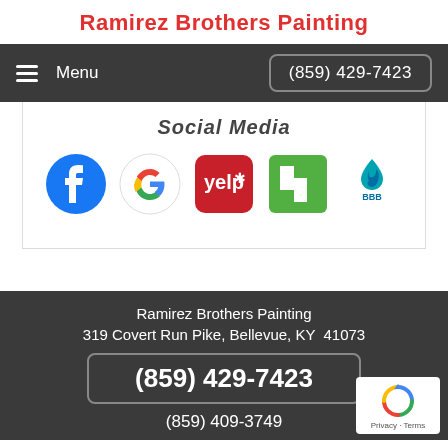Ramirez Brothers Painting
Menu   (859) 429-7423
Social Media
[Figure (logo): Row of social media icons: Facebook, Google, Yelp, Houzz, BBB]
Ramirez Brothers Painting
319 Covert Run Pike, Bellevue, KY  41073
(859) 429-7423
(859) 409-3749
[Figure (logo): reCAPTCHA badge with Privacy and Terms links]